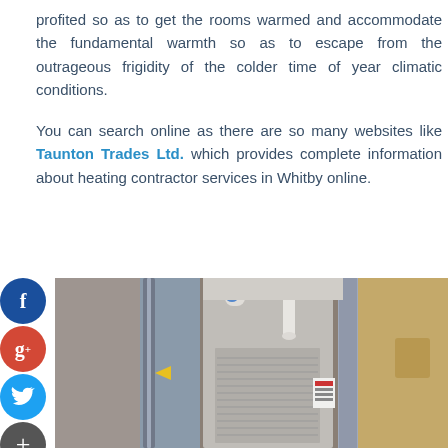profited so as to get the rooms warmed and accommodate the fundamental warmth so as to escape from the outrageous frigidity of the colder time of year climatic conditions.
You can search online as there are so many websites like Taunton Trades Ltd. which provides complete information about heating contractor services in Whitby online.
[Figure (photo): Photograph of a furnace/heating unit installed in a utility room with ductwork, pipes, and metal panels visible]